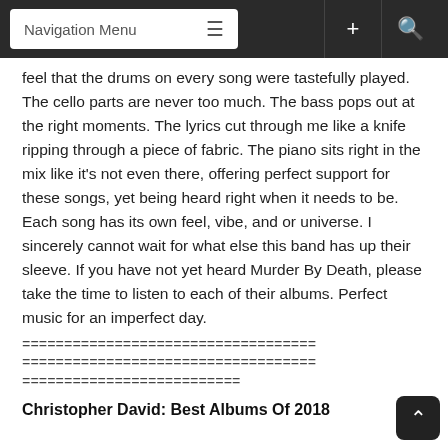Navigation Menu
feel that the drums on every song were tastefully played. The cello parts are never too much. The bass pops out at the right moments. The lyrics cut through me like a knife ripping through a piece of fabric. The piano sits right in the mix like it's not even there, offering perfect support for these songs, yet being heard right when it needs to be. Each song has its own feel, vibe, and or universe. I sincerely cannot wait for what else this band has up their sleeve. If you have not yet heard Murder By Death, please take the time to listen to each of their albums. Perfect music for an imperfect day.
===================================
===================================
==========================
Christopher David: Best Albums Of 2018